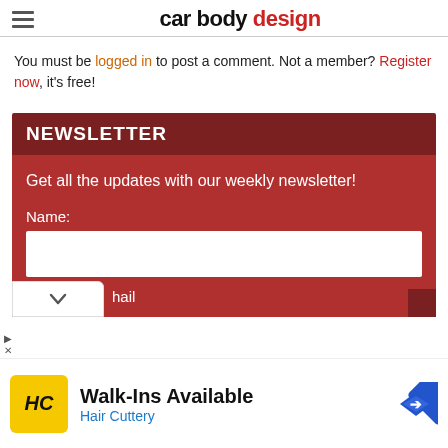car body design
You must be logged in to post a comment. Not a member? Register now, it's free!
NEWSLETTER
Get all the updates with our weekly newsletter!
Name:
hail
[Figure (screenshot): Advertisement banner for Hair Cuttery with logo, Walk-Ins Available headline, and direction sign icon]